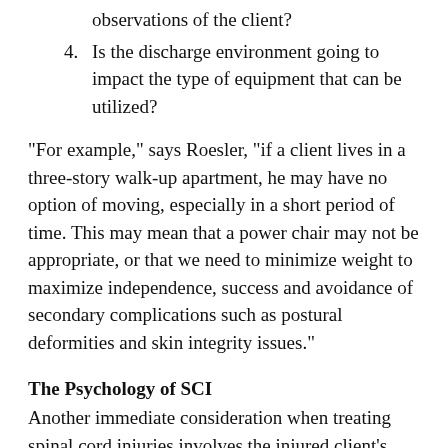observations of the client?
4. Is the discharge environment going to impact the type of equipment that can be utilized?
"For example," says Roesler, "if a client lives in a three-story walk-up apartment, he may have no option of moving, especially in a short period of time. This may mean that a power chair may not be appropriate, or that we need to minimize weight to maximize independence, success and avoidance of secondary complications such as postural deformities and skin integrity issues."
The Psychology of SCI
Another immediate consideration when treating spinal cord injuries involves the injured client's emotional state. Often, people with SCI go through the same process of grieving we normally associate with death. The weight of losing sensation and/or the ability to